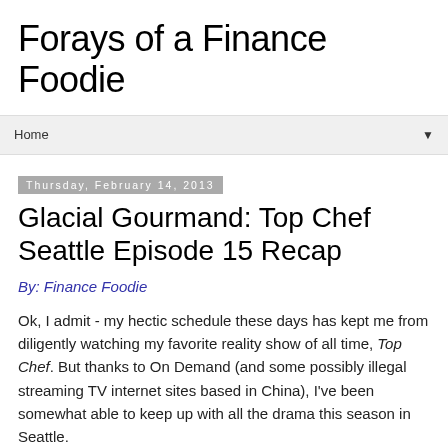Forays of a Finance Foodie
Home ▼
Thursday, February 14, 2013
Glacial Gourmand: Top Chef Seattle Episode 15 Recap
By: Finance Foodie
Ok, I admit - my hectic schedule these days has kept me from diligently watching my favorite reality show of all time, Top Chef.  But thanks to On Demand (and some possibly illegal streaming TV internet sites based in China), I've been somewhat able to keep up with all the drama this season in Seattle.